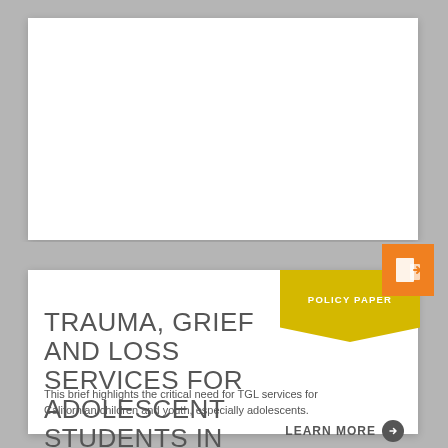POLICY PAPER
TRAUMA, GRIEF AND LOSS SERVICES FOR ADOLESCENT STUDENTS IN CALIFORNIA
This brief highlights the critical need for TGL services for Californian children and youth, especially adolescents.
LEARN MORE